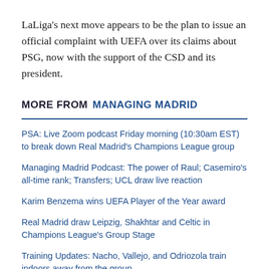LaLiga's next move appears to be the plan to issue an official complaint with UEFA over its claims about PSG, now with the support of the CSD and its president.
MORE FROM MANAGING MADRID
PSA: Live Zoom podcast Friday morning (10:30am EST) to break down Real Madrid's Champions League group
Managing Madrid Podcast: The power of Raul; Casemiro's all-time rank; Transfers; UCL draw live reaction
Karim Benzema wins UEFA Player of the Year award
Real Madrid draw Leipzig, Shakhtar and Celtic in Champions League's Group Stage
Training Updates: Nacho, Vallejo, and Odriozola train indoors away from the group
Valverde, Rodrygo and the right-wing question